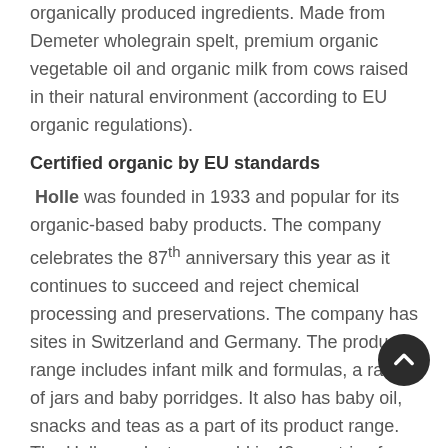organically produced ingredients. Made from Demeter wholegrain spelt, premium organic vegetable oil and organic milk from cows raised in their natural environment (according to EU organic regulations).
Certified organic by EU standards
Holle was founded in 1933 and popular for its organic-based baby products. The company celebrates the 87th anniversary this year as it continues to succeed and reject chemical processing and preservations. The company has sites in Switzerland and Germany. The product range includes infant milk and formulas, a range of jars and baby porridges. It also has baby oil, snacks and teas as a part of its product range. The Holle products are sold in 40 countries for 35 years. Holle stands to be the most preferred brand by mother across Europe.
Certified organic by EU standards